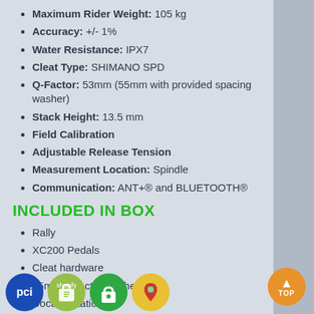Maximum Rider Weight: 105 kg
Accuracy: +/- 1%
Water Resistance: IPX7
Cleat Type: SHIMANO SPD
Q-Factor: 53mm (55mm with provided spacing washer)
Stack Height: 13.5 mm
Field Calibration
Adjustable Release Tension
Measurement Location: Spindle
Communication: ANT+® and BLUETOOTH®
INCLUDED IN BOX
Rally
XC200 Pedals
Cleat hardware
55mm Q-factor washers
Documentation
[Figure (infographic): Footer with e-commerce and navigation icons: PCI logo (blue circle), Shopify bag icon (green), store/lock icon (green), Google Maps pin icon (orange/yellow). Orange 'TOP' button with up arrow at bottom right.]